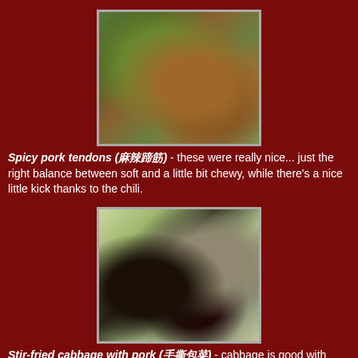[Figure (photo): Photo of spicy pork tendons dish with shredded greens on a plate]
Spicy pork tendons (한자어) - these were really nice... just the right balance between soft and a little bit chewy, while there's a nice little kick thanks to the chili.
[Figure (photo): Photo of stir-fried cabbage with pork showing dried chilies and mushrooms]
Stir-fried cabbage with pork (한자어) - cabbage is good with anything...
[Figure (photo): Partial photo at bottom of page, cropped]